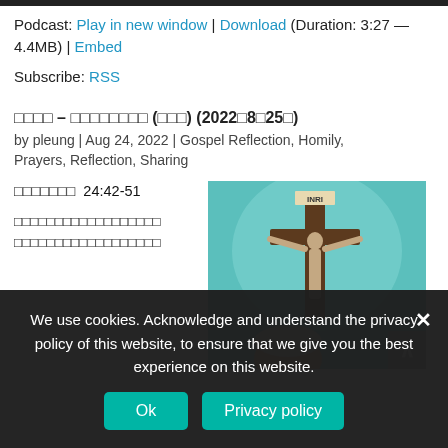Podcast: Play in new window | Download (Duration: 3:27 — 4.4MB) | Embed
Subscribe: RSS
□□□□ – □□□□□□□□ (□□□) (2022□8□25□)
by pleung | Aug 24, 2022 | Gospel Reflection, Homily, Prayers, Reflection, Sharing
□□□□□□□  24:42-51
□□□□□□□□□□□□□□□□□□ □□□□□□□□□□□□□□□□□□
[Figure (photo): A crucifix with Jesus figure hanging, with a person's head visible below, against a teal/green background. INRI inscription visible at top of cross.]
We use cookies. Acknowledge and understand the privacy policy of this website, to ensure that we give you the best experience on this website.